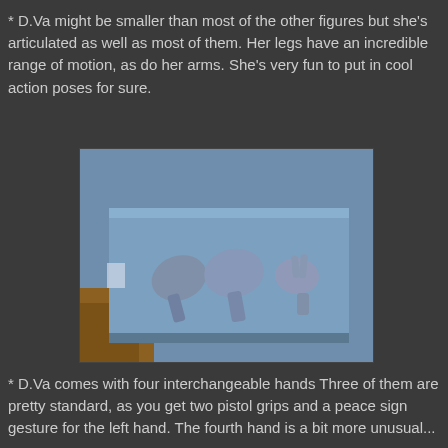* D.Va might be smaller than most of the other figures but she's articulated as well as most of them. Her legs have an incredible range of motion, as do her arms. She's very fun to put in cool action poses for sure.
[Figure (photo): Close-up photo of three interchangeable metallic/silver action figure hands laid on a blue-gray surface. Two hands on the left appear to be in pistol grip or fist poses, and one hand on the right appears to be in a peace sign or V-gesture pose.]
* D.Va comes with four interchangeable hands Three of them are pretty standard, as you get two pistol grips and a peace sign gesture for the left hand. The fourth hand is a bit more unusual...